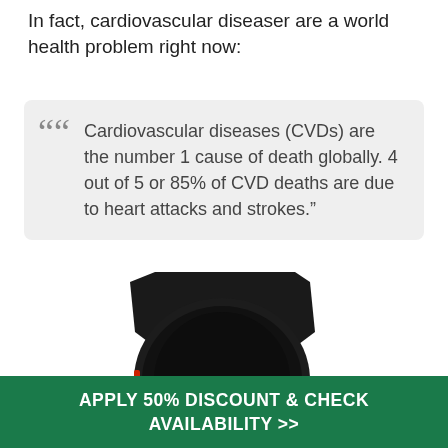In fact, cardiovascular diseaser are a world health problem right now:
Cardiovascular diseases (CVDs) are the number 1 cause of death globally. 4 out of 5 or 85% of CVD deaths are due to heart attacks and strokes.”
[Figure (photo): Back view of a black smartwatch with rubber band, showing yellow charging contacts and CE RoHS markings, with teal ECG heartbeat lines in the background]
APPLY 50% DISCOUNT & CHECK AVAILABILITY >>